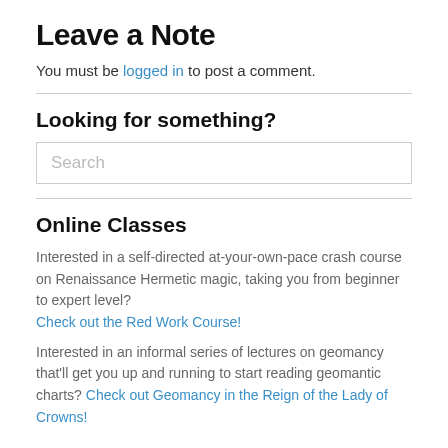Leave a Note
You must be logged in to post a comment.
Looking for something?
Search
Online Classes
Interested in a self-directed at-your-own-pace crash course on Renaissance Hermetic magic, taking you from beginner to expert level? Check out the Red Work Course!
Interested in an informal series of lectures on geomancy that'll get you up and running to start reading geomantic charts? Check out Geomancy in the Reign of the Lady of Crowns!